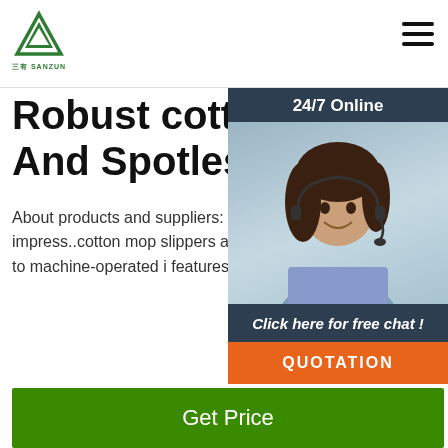[Figure (logo): Sanzun green triangle logo with Chinese text]
Robust cotton mop slippers For Clean And Spotless Spaces
About products and suppliers: Choose the best. slippers from Alibaba.com for spotless and shin are sure to impress..cotton mop slippers are an of any cleaning repertoire. They can range from manually operated items to machine-operated i features.
[Figure (photo): Customer service representative with headset, 24/7 Online panel]
Click here for free chat !
QUOTATION
[Figure (screenshot): Get Price green button]
[Figure (photo): Zunke brand product image with bottles on light blue background]